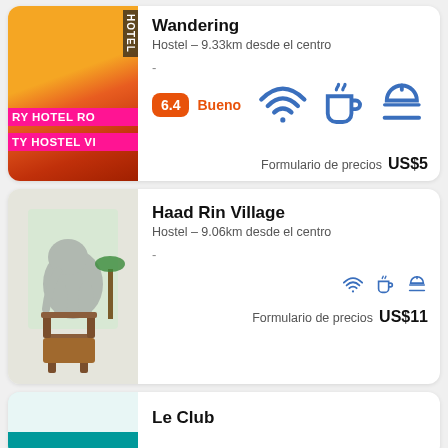[Figure (photo): Hotel/hostel exterior photo with neon pink sign reading 'RY HOTEL RO' and 'TY HOSTEL VI', warm orange sunset sky background]
Wandering
Hostel - 9.33km desde el centro
-
6.4  Bueno
Formulario de precios  US$5
[Figure (photo): Indoor seating area with wooden chair, elephant mural painted on wall, tropical art]
Haad Rin Village
Hostel - 9.06km desde el centro
-
Formulario de precios  US$11
[Figure (photo): Partial view of accommodation, teal/green surface visible]
Le Club